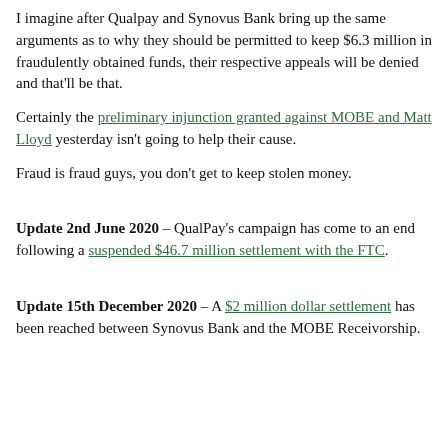I imagine after Qualpay and Synovus Bank bring up the same arguments as to why they should be permitted to keep $6.3 million in fraudulently obtained funds, their respective appeals will be denied and that'll be that.
Certainly the preliminary injunction granted against MOBE and Matt Lloyd yesterday isn't going to help their cause.
Fraud is fraud guys, you don't get to keep stolen money.
Update 2nd June 2020 – QualPay's campaign has come to an end following a suspended $46.7 million settlement with the FTC.
Update 15th December 2020 – A $2 million dollar settlement has been reached between Synovus Bank and the MOBE Receivorship.